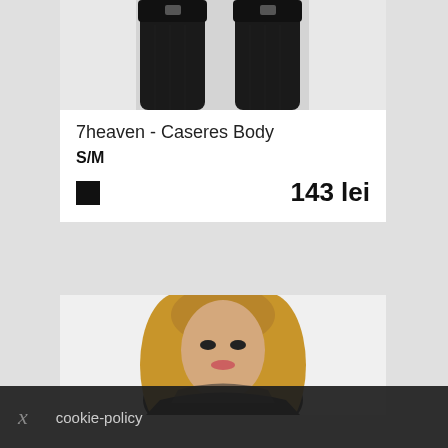[Figure (photo): Close-up of legs wearing black stockings/hosiery product against a white background]
7heaven - Caseres Body
S/M
143 lei
[Figure (photo): Woman with long blonde wavy hair wearing a black mesh/sheer bodysuit, looking at camera]
cookie-policy